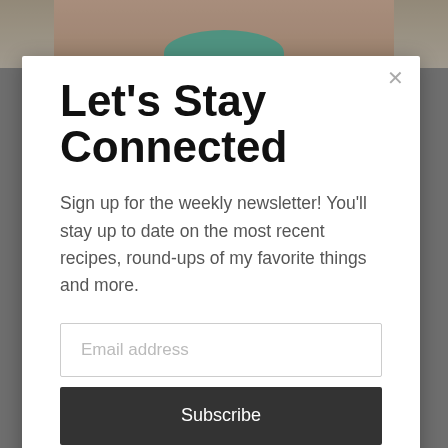[Figure (photo): Top portion of a person with teal/green hair accessory and blonde hair, partially visible at top of page behind modal overlay]
Let's Stay Connected
Sign up for the weekly newsletter! You'll stay up to date on the most recent recipes, round-ups of my favorite things and more.
[Figure (photo): Bottom portion showing another image partially visible behind modal overlay]